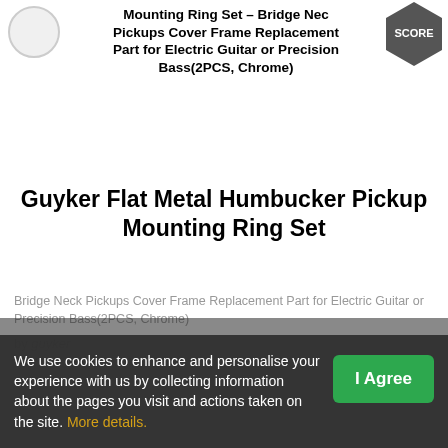Mounting Ring Set - Bridge Neck Pickups Cover Frame Replacement Part for Electric Guitar or Precision Bass(2PCS, Chrome)
Guyker Flat Metal Humbucker Pickup Mounting Ring Set
Bridge Neck Pickups Cover Frame Replacement Part for Electric Guitar or Precision Bass(2PCS, Chrome)
by guyker
Metal construction, durable and sturdy, not easy to deform. Nice accessory to replace the broken or old pickup rings to dress up your guitar.
We use cookies to enhance and personalise your experience with us by collecting information about the pages you visit and actions taken on the site. More details.